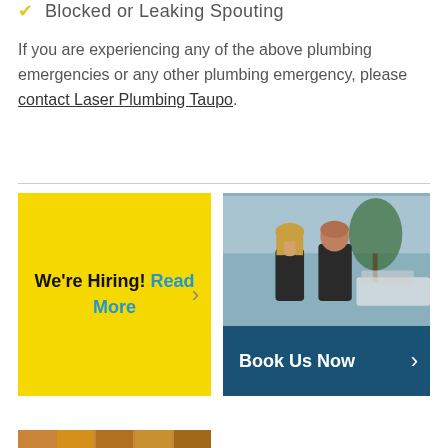Blocked or Leaking Spouting
If you are experiencing any of the above plumbing emergencies or any other plumbing emergency, please contact Laser Plumbing Taupo.
[Figure (other): Yellow card with 'We're Hiring! Read More' text and chevron arrow]
[Figure (photo): Photo of two people (a woman and a man) in dark uniforms standing outdoors near a vehicle with water and plants in background, with a dark blue 'Book Us Now' banner below]
[Figure (photo): Partial bottom strip showing a colorful image, only the top edge visible]